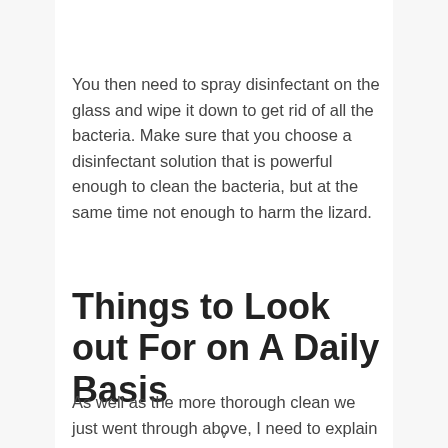You then need to spray disinfectant on the glass and wipe it down to get rid of all the bacteria. Make sure that you choose a disinfectant solution that is powerful enough to clean the bacteria, but at the same time not enough to harm the lizard.
Things to Look out For on A Daily Basis
As well as the more thorough clean we just went through above, I need to explain the daily steps you will need to take to keep…
v